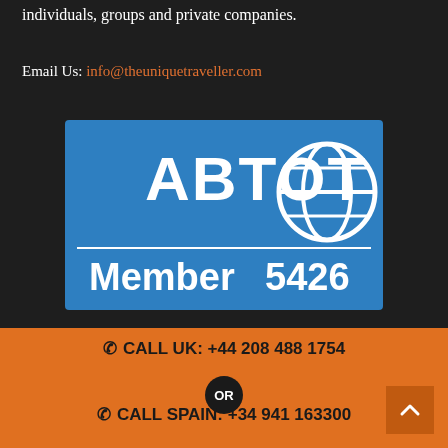individuals, groups and private companies.
Email Us: info@theuniquetraveller.com
[Figure (logo): ABTOT Member 5426 logo badge — blue rectangle with white text 'ABTOT' on top half with globe icon, 'Member 5426' on bottom half separated by a horizontal white line]
UK OFFICE
The Unique Traveller
CALL UK: +44 208 488 1754
OR
CALL SPAIN: +34 941 163300